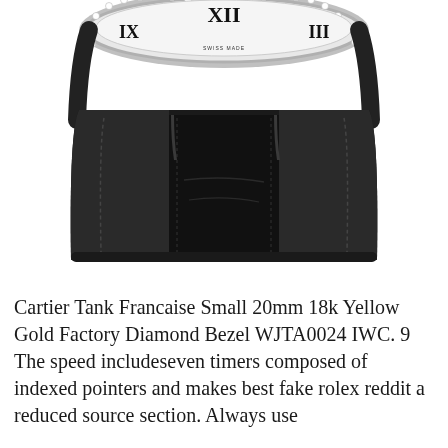[Figure (photo): Close-up black and white photograph of a luxury watch showing the lower half of the watch face with Roman numerals, a diamond-set bezel, and a black alligator leather strap.]
Cartier Tank Francaise Small 20mm 18k Yellow Gold Factory Diamond Bezel WJTA0024 IWC. 9 The speed includeseven timers composed of indexed pointers and makes best fake rolex reddit a reduced source section. Always use